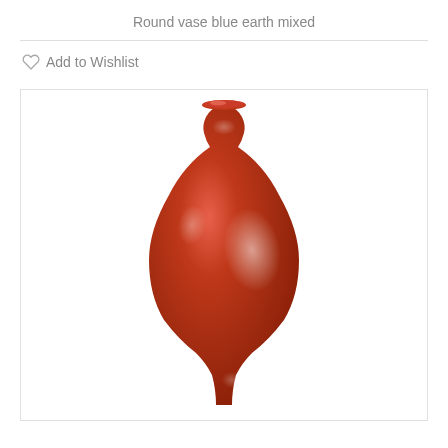Round vase blue earth mixed
♡ Add to Wishlist
[Figure (photo): A glossy red-orange ceramic vase with a round body, narrow neck, and flared rim. The vase has a meiping (plum blossom) shape. There are visible light reflections/highlights on the surface.]